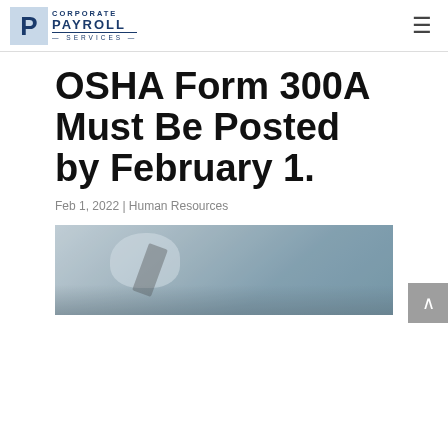Corporate Payroll Services
OSHA Form 300A Must Be Posted by February 1.
Feb 1, 2022 | Human Resources
[Figure (photo): Person writing with a pen, blurred background, business/office setting]